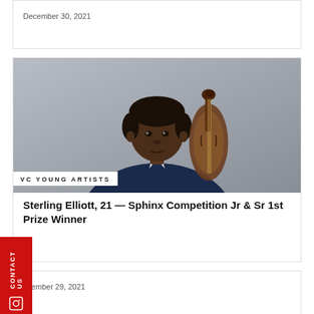December 30, 2021
[Figure (photo): Young Black man in a navy blazer holding a cello behind his shoulder, photographed against a gray background. Professional portrait.]
VC YOUNG ARTISTS
Sterling Elliott, 21 — Sphinx Competition Jr & Sr 1st Prize Winner
December 29, 2021